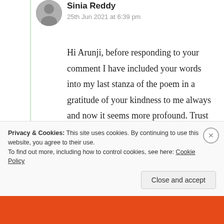Sinia Reddy
25th Jun 2021 at 6:39 pm
Hi Arunji, before responding to your comment I have included your words into my last stanza of the poem in a gratitude of your kindness to me always and now it seems more profound. Trust me, I dropped few drops of pearls while reading you n thank you so much as words aren't
Privacy & Cookies: This site uses cookies. By continuing to use this website, you agree to their use.
To find out more, including how to control cookies, see here: Cookie Policy
Close and accept